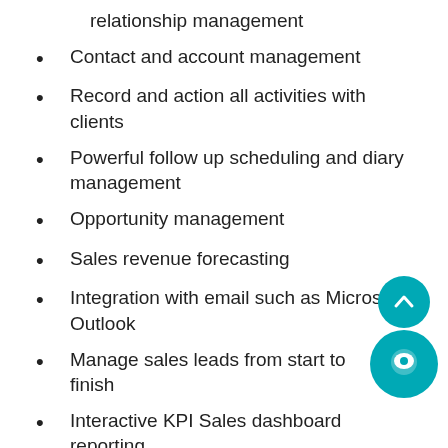relationship management
Contact and account management
Record and action all activities with clients
Powerful follow up scheduling and diary management
Opportunity management
Sales revenue forecasting
Integration with email such as Microsoft Outlook
Manage sales leads from start to finish
Interactive KPI Sales dashboard reporting
Create quotes and orders from within